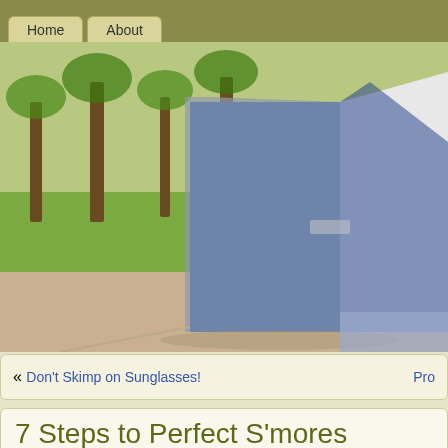Home | About
[Figure (photo): Outdoor camping scene showing a blue and white tent in the foreground with trees and grass in the background]
« Don't Skimp on Sunglasses! | Pro
7 Steps to Perfect S'mores
June 15th, 2011 | Author: Kim
The Perfect S'mores Technique